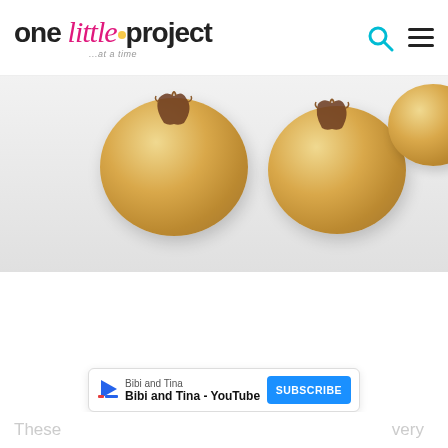one little project ...at a time
[Figure (photo): Cookie dough balls with chocolate pieces on top, arranged on a white surface. Three dough balls visible, two full and one partial at the edge.]
Bibi and Tina  Bibi and Tina - YouTube  SUBSCRIBE
These ... very